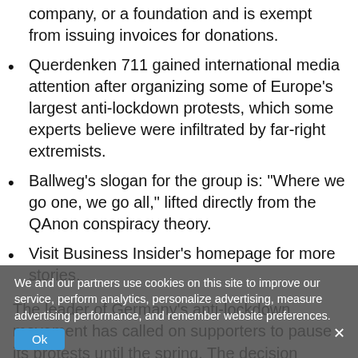company, or a foundation and is exempt from issuing invoices for donations.
Querdenken 711 gained international media attention after organizing some of Europe's largest anti-lockdown protests, which some experts believe were infiltrated by far-right extremists.
Ballweg's slogan for the group is: "Where we go one, we go all," lifted directly from the QAnon conspiracy theory.
Visit Business Insider's homepage for more stories.
The leader of Germany's anti-lockdown movement has called on supporters to pause its protests until the spring. The decision coincides with press reports that question the group's finances.
Michael Ballweg, the founder of the so-called Querdenken-711 or "later-thinking" group, said in a Telegram video message over the Christmas period that he will be "indefinitely stopping large-scale Querdenken protests"
We and our partners use cookies on this site to improve our service, perform analytics, personalize advertising, measure advertising performance, and remember website preferences.